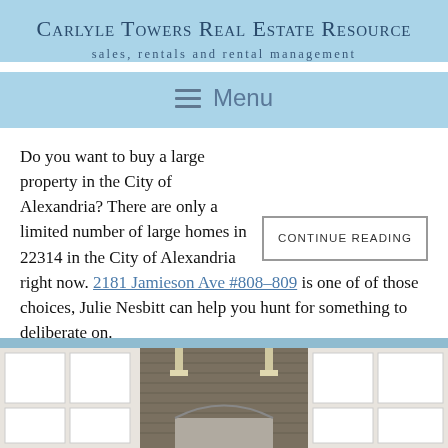Carlyle Towers Real Estate Resource
sales, rentals and rental management
Menu
Do you want to buy a large property in the City of Alexandria? There are only a limited number of large homes in 22314 in the City of Alexandria right now. 2181 Jamieson Ave #808-809 is one of of those choices, Julie Nesbitt can help you hunt for something to deliberate on.
CONTINUE READING
[Figure (photo): Exterior photo of a building facade with white panels, gray siding, light fixtures, and an arched entrance element visible at the bottom]